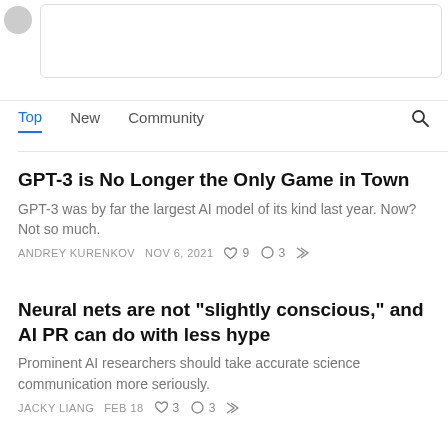[Figure (screenshot): Partial comment box with avatar and text input field at top of page]
Top  New  Community
GPT-3 is No Longer the Only Game in Town
GPT-3 was by far the largest AI model of its kind last year. Now? Not so much.
ANDREY KURENKOV  NOV 6, 2021  ♡ 9  ○ 3  ↩
Neural nets are not "slightly conscious," and AI PR can do with less hype
Prominent AI researchers should take accurate science communication more seriously.
JACKY LIANG  FEB 18  ♡ 3  ○ 3  ↩